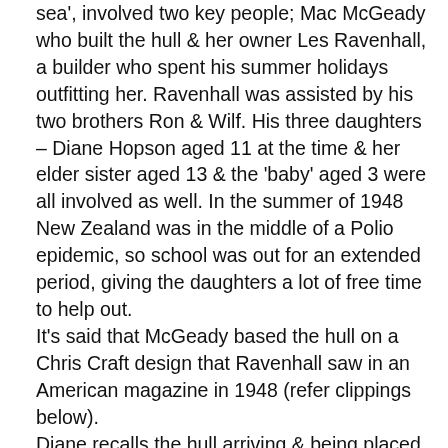sea', involved two key people; Mac McGeady who built the hull & her owner Les Ravenhall, a builder who spent his summer holidays outfitting her. Ravenhall was assisted by his two brothers Ron & Wilf. His three daughters – Diane Hopson aged 11 at the time & her elder sister aged 13 & the 'baby' aged 3 were all involved as well. In the summer of 1948 New Zealand was in the middle of a Polio epidemic, so school was out for an extended period, giving the daughters a lot of free time to help out. It's said that McGeady based the hull on a Chris Craft design that Ravenhall saw in an American magazine in 1948 (refer clippings below). Diane recalls the hull arriving & being placed on the front lawn, neighbors in those days must have been a lot more accommodating than they are today as Ravenhall worked night & day outfitting her. Diane recalls that the engine